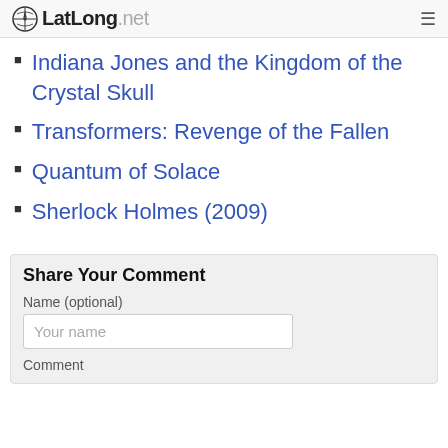LatLong.net
Indiana Jones and the Kingdom of the Crystal Skull
Transformers: Revenge of the Fallen
Quantum of Solace
Sherlock Holmes (2009)
Share Your Comment
Name (optional)
Your name
Comment